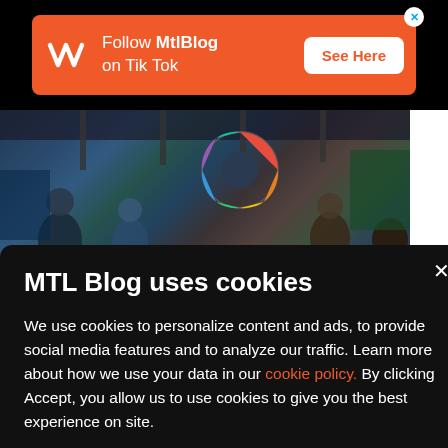[Figure (infographic): Orange advertisement banner for MtlBlog TikTok with logo, text 'Follow MtlBlog on Tik Tok', and 'See Here' button]
[Figure (photo): Indoor photo showing people in what appears to be a transit station with a colorful circular artwork on the wall]
MTL Blog uses cookies
We use cookies to personalize content and ads, to provide social media features and to analyze our traffic. Learn more about how we use your data in our cookie policy. By clicking Accept, you allow us to use cookies to give you the best experience on site.
Accept